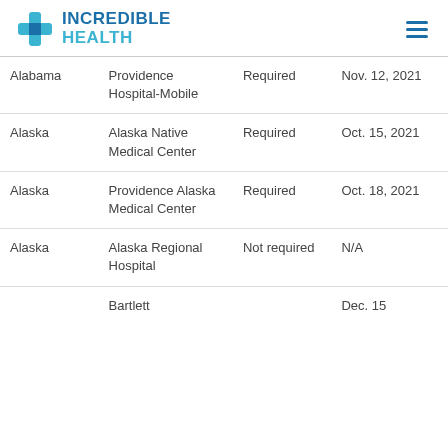INCREDIBLE HEALTH
| State | Hospital | Requirement | Date |
| --- | --- | --- | --- |
| Alabama | Providence Hospital-Mobile | Required | Nov. 12, 2021 |
| Alaska | Alaska Native Medical Center | Required | Oct. 15, 2021 |
| Alaska | Providence Alaska Medical Center | Required | Oct. 18, 2021 |
| Alaska | Alaska Regional Hospital | Not required | N/A |
|  | Bartlett |  | Dec. 15 |